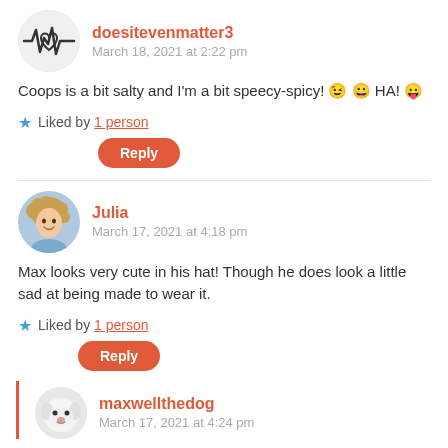doesitevenmatter3
March 18, 2021 at 2:22 pm
Coops is a bit salty and I'm a bit speecy-spicy! 😉 😀 HA! 😛
Liked by 1 person
Reply
Julia
March 17, 2021 at 4:18 pm
Max looks very cute in his hat! Though he does look a little sad at being made to wear it.
Liked by 1 person
Reply
maxwellthedog
March 17, 2021 at 4:24 pm